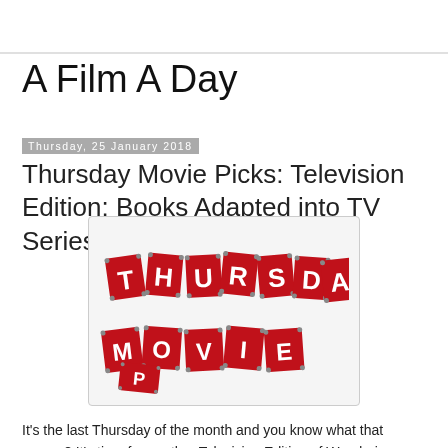A Film A Day
Thursday, 25 January 2018
Thursday Movie Picks: Television Edition: Books Adapted into TV Series
[Figure (logo): Thursday Movie Picks logo with red ticket-stub shaped letter tiles on a light gray background]
It's the last Thursday of the month and you know what that means? It's time for another Television Edition of Wandering Through the Shelves' Thursday Movie Picks. This week we